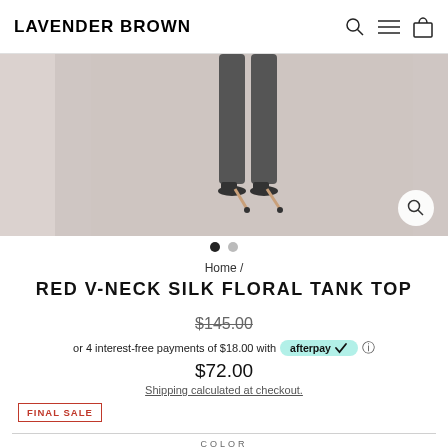LAVENDER BROWN
[Figure (photo): Product photo showing the lower half of a model wearing dark slim trousers and black high-heel pointed shoes, on a light pinkish-beige background. A magnify icon is visible at bottom right.]
Home /
RED V-NECK SILK FLORAL TANK TOP
$145.00
or 4 interest-free payments of $18.00 with afterpay
$72.00
Shipping calculated at checkout.
FINAL SALE
COLOR